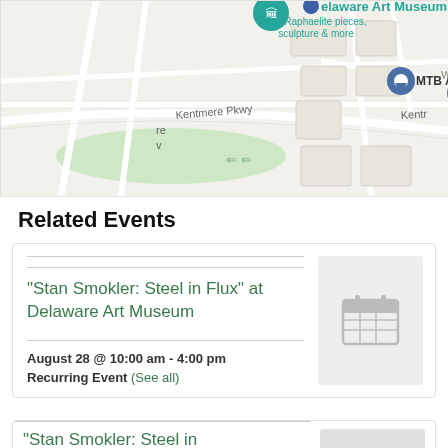[Figure (map): Google Maps partial view showing Delaware Art Museum pin (teal) with text 'Pre-Raphaelite pieces, sculpture & more', a dark blue pin for MTB Artisans, streets labeled Kentmere Pkwy, Kentr, Wood, a green park area, and road network in a suburb.]
Related Events
“Stan Smokler: Steel in Flux” at Delaware Art Museum
August 28 @ 10:00 am - 4:00 pm
Recurring Event (See all)
[Figure (illustration): Gray calendar icon placeholder image]
“Stan Smokler: Steel in…